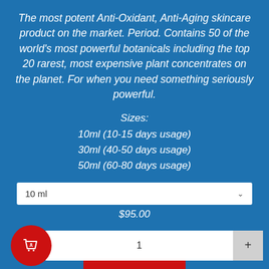The most potent Anti-Oxidant, Anti-Aging skincare product on the market. Period. Contains 50 of the world's most powerful botanicals including the top 20 rarest, most expensive plant concentrates on the planet. For when you need something seriously powerful.
Sizes:
10ml (10-15 days usage)
30ml (40-50 days usage)
50ml (60-80 days usage)
10 ml
$95.00
1